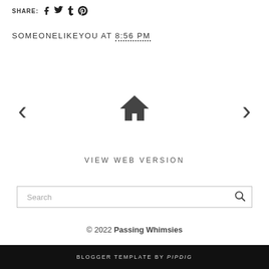SHARE: [facebook] [twitter] [tumblr] [pinterest]
SOMEONELIKEYOU AT 8:56 PM
[Figure (other): Navigation row with left arrow, home icon, and right arrow]
VIEW WEB VERSION
Search [search icon]
© 2022 Passing Whimsies
BLOGGER TEMPLATE BY pipdig